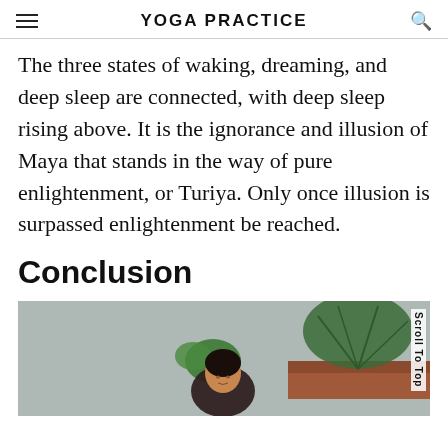YOGA PRACTICE
The three states of waking, dreaming, and deep sleep are connected, with deep sleep rising above. It is the ignorance and illusion of Maya that stands in the way of pure enlightenment, or Turiya. Only once illusion is surpassed enlightenment be reached.
Conclusion
[Figure (photo): A woman meditating indoors surrounded by tropical plants against a grey concrete wall background.]